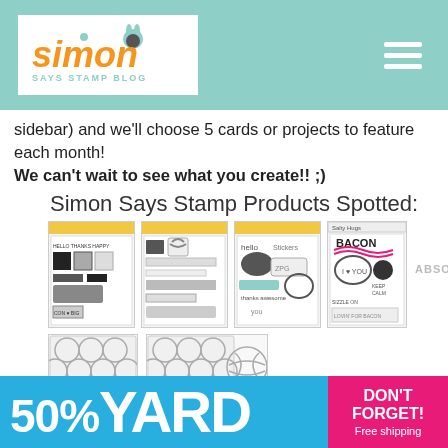[Figure (logo): Simon Says Stamp Blog logo on teal/mint header bar with hamburger menu icon]
sidebar) and we'll choose 5 cards or projects to feature each month!
We can't wait to see what you create!! ;)
Simon Says Stamp Products Spotted:
[Figure (photo): Grid of Simon Says Stamp product images: five stamp sets and two die-cut products]
InLinkz.com
Don't miss the sale this weekend at Simon Says Stamp! Happy Shopping!
[Figure (infographic): Blue banner ad showing '50% YARD' text with pink 'DON'T FORGET! Free shipping' panel on right]